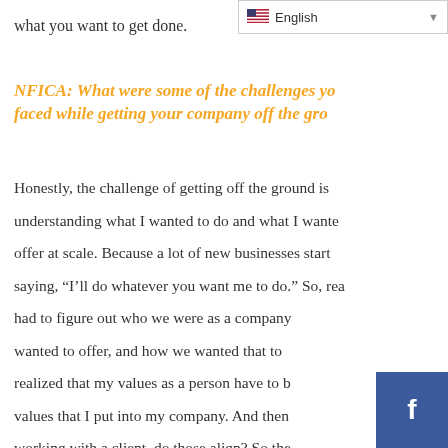English
what you want to get done.
NFICA: What were some of the challenges you faced while getting your company off the ground?
Honestly, the challenge of getting off the ground is understanding what I wanted to do and what I wanted to offer at scale. Because a lot of new businesses start by saying, "I'll do whatever you want me to do." So, really had to figure out who we were as a company, what we wanted to offer, and how we wanted that to look. I realized that my values as a person have to be the same values that I put into my company. And then when I'm working with a client, do those align? So the theme of owning my voice and owning my beliefs and being able to stand firm on that and say, "This is wh...